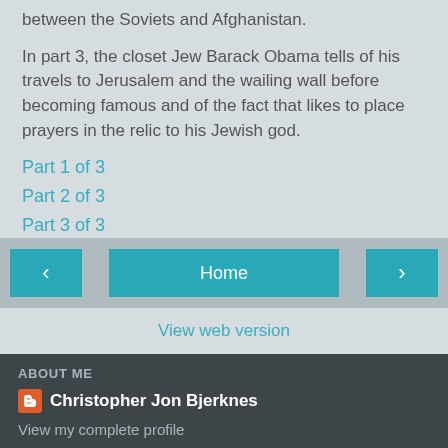between the Soviets and Afghanistan.
In part 3, the closet Jew Barack Obama tells of his travels to Jerusalem and the wailing wall before becoming famous and of the fact that likes to place prayers in the relic to his Jewish god.
Part 1 of 3
Part 2 of 3
Part 3 of 3
Christopher Jon Bjerknes at 11:37 PM
Home
View web version
ABOUT ME
Christopher Jon Bjerknes
View my complete profile